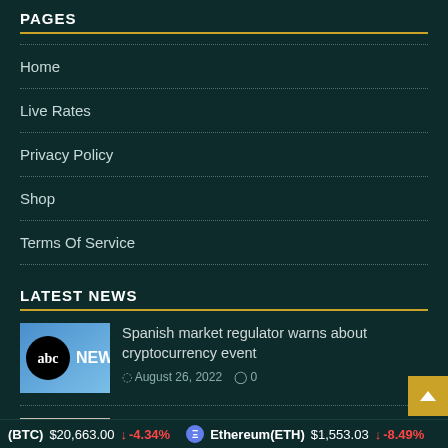PAGES
Home
Live Rates
Privacy Policy
Shop
Terms Of Service
LATEST NEWS
[Figure (photo): ABC News logo thumbnail]
Spanish market regulator warns about cryptocurrency event
August 26, 2022  0
[Figure (photo): News article thumbnail showing people]
Spanish Market Regulator Warns About Cryptocurrency Event
(BTC) $20,663.00 ↓ -4.34%  Ethereum(ETH) $1,553.03 ↓ -8.49%